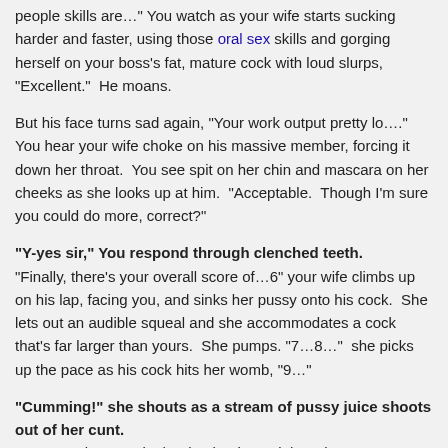people skills are…" You watch as your wife starts sucking harder and faster, using those oral sex skills and gorging herself on your boss's fat, mature cock with loud slurps, "Excellent."  He moans.
But his face turns sad again, "Your work output pretty lo…." You hear your wife choke on his massive member, forcing it down her throat.  You see spit on her chin and mascara on her cheeks as she looks up at him.  "Acceptable.  Though I'm sure you could do more, correct?"
"Y-yes sir," You respond through clenched teeth.
"Finally, there's your overall score of…6" your wife climbs up on his lap, facing you, and sinks her pussy onto his cock.  She lets out an audible squeal and she accommodates a cock that's far larger than yours.  She pumps. "7…8…"  she picks up the pace as his cock hits her womb, "9…"
"Cumming!" she shouts as a stream of pussy juice shoots out of her cunt.
"10!" Your boss grabs her by the tits and there is an unmistakable squelch into her pussy and in your own pants.  He sighs, letting her slip off of his cock.  "I look forward to keeping you aboard, Mr. Smith."